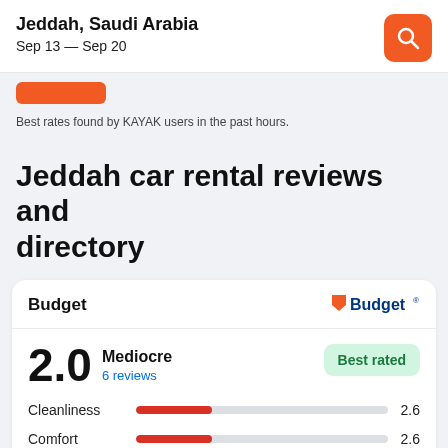Jeddah, Saudi Arabia
Sep 13 — Sep 20
Best rates found by KAYAK users in the past hours.
Jeddah car rental reviews and directory
Budget
2.0 Mediocre
6 reviews
Best rated
Cleanliness 2.6
Comfort 2.6